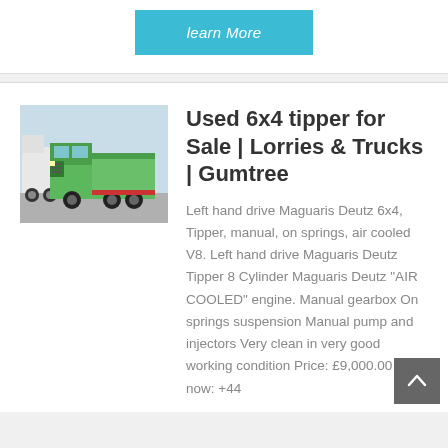learn More
[Figure (photo): Green 6x4 tipper truck parked outdoors]
Used 6x4 tipper for Sale | Lorries & Trucks | Gumtree
Left hand drive Maguaris Deutz 6x4, Tipper, manual, on springs, air cooled V8. Left hand drive Maguaris Deutz Tipper 8 Cylinder Maguaris Deutz "AIR COOLED" engine. Manual gearbox On springs suspension Manual pump and injectors Very clean in very good working condition Price: £9,000.00 Call now: +44